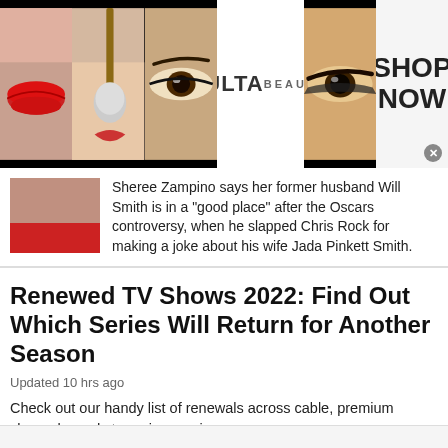[Figure (photo): Ulta Beauty advertisement banner showing makeup/beauty images (lips, brush, eyes) alongside Ulta Beauty logo and SHOP NOW text]
Sheree Zampino says her former husband Will Smith is in a "good place" after the Oscars controversy, when he slapped Chris Rock for making a joke about his wife Jada Pinkett Smith.
Renewed TV Shows 2022: Find Out Which Series Will Return for Another Season
Updated 10 hrs ago
Check out our handy list of renewals across cable, premium channels, and streaming services.
[Figure (photo): Frontgate SALES advertisement showing outdoor patio furniture with fire pit. Text: Frontgate SALES, 20% off sitewide plus free shipping from August 19-22, frontgate.com]